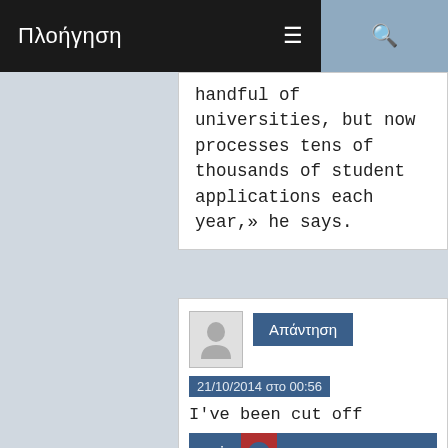Πλοήγηση
handful of universities, but now processes tens of thousands of student applications each year,» he says.
21/10/2014 στο 00:56
I've been cut off
praise